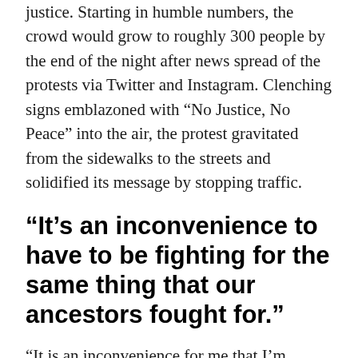justice. Starting in humble numbers, the crowd would grow to roughly 300 people by the end of the night after news spread of the protests via Twitter and Instagram. Clenching signs emblazoned with “No Justice, No Peace” into the air, the protest gravitated from the sidewalks to the streets and solidified its message by stopping traffic.
“It’s an inconvenience to have to be fighting for the same thing that our ancestors fought for.”
“It is an inconvenience for me that I’m having to get up in 2020 and protest against racism and protest against police brutality. So, we need to inconvenience them,” Hall said. “It’s an inconvenience to have to be fighting for the same thing that our ancestors fought for, that our grandmothers fought for, and our grandfathers fought for. We are fighting